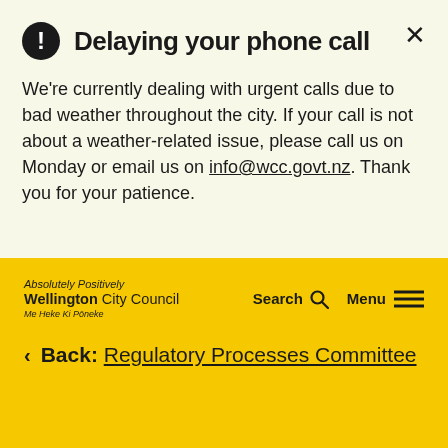Delaying your phone call
We're currently dealing with urgent calls due to bad weather throughout the city. If your call is not about a weather-related issue, please call us on Monday or email us on info@wcc.govt.nz. Thank you for your patience.
[Figure (logo): Absolutely Positively Wellington City Council - Me Heke Ki Pōneke logo]
Search   Menu
Back: Regulatory Processes Committee